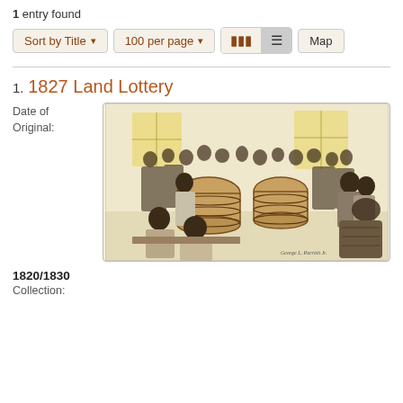1 entry found
Sort by Title | 100 per page | Map
1. 1827 Land Lottery
Date of Original:
[Figure (illustration): Pen and ink illustration showing a crowded indoor scene of men gathered around large wooden barrels during a land lottery drawing. A figure in the foreground draws from a barrel while crowds of men watch. Signed 'George L. Parrish Jr.' in lower right corner. The scene is lit with warm yellow tones from windows in the background.]
1820/1830
Collection: